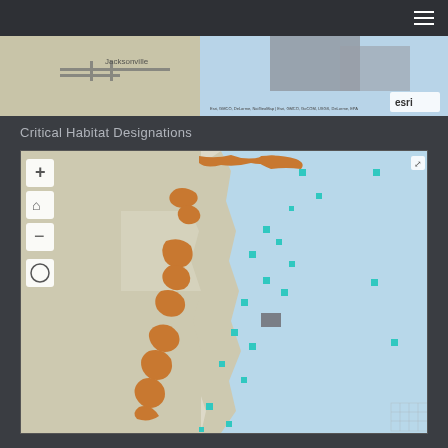[Figure (map): Top partial map showing Jacksonville area coastline with gray overlays and esri attribution logo in bottom right corner]
Critical Habitat Designations
[Figure (map): Interactive map showing southeastern US Atlantic coastline with orange/brown critical habitat designations along the coast and teal/cyan square markers scattered in the ocean. Map includes zoom controls (+, home, -) and a globe icon on the left side.]